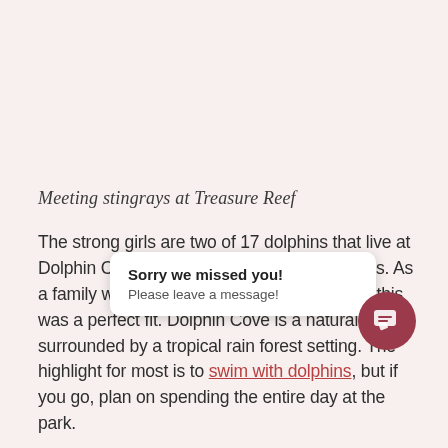Meeting stingrays at Treasure Reef
The strong girls are two of 17 dolphins that live at Dolphin Cove at Treasure Reef in Ochos Rios. As a family who loves to hang out at the beach, this was a perfect fit. Dolphin Cove is a natural cove surrounded by a tropical rain forest setting. The highlight for most is to swim with dolphins, but if you go, plan on spending the entire day at the park.
There's something f... bo... rides, a shark show and snorkeling with sting rays (no
[Figure (screenshot): Chat popup overlay reading 'Sorry we missed you! Please leave a message!' with a dark red circular chat button icon in the bottom right.]